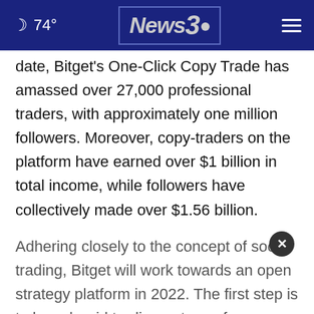☽ 74° | News3 | ≡
date, Bitget's One-Click Copy Trade has amassed over 27,000 professional traders, with approximately one million followers. Moreover, copy-traders on the platform have earned over $1 billion in total income, while followers have collectively made over $1.56 billion.
Adhering closely to the concept of social trading, Bitget will work towards an open strategy platform in 2022. The first step is to launch grid trading, a type of quantitative